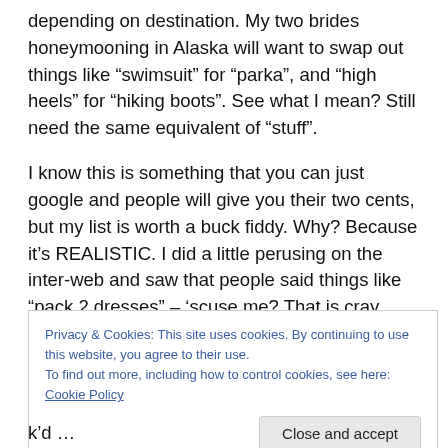depending on destination.  My two brides honeymooning in Alaska will want to swap out things like “swimsuit” for “parka”, and “high heels” for “hiking boots”.  See what I mean?  Still need the same equivalent of “stuff”.
I know this is something that you can just google and people will give you their two cents, but my list is worth a buck fiddy.  Why?  Because it’s REALISTIC.  I did a little perusing on the inter-web and saw that people said things like “pack 2 dresses” – ‘scuse me?  That is cray cray.  Now if you know me, you know I hate pants, so I will wear a
Privacy & Cookies: This site uses cookies. By continuing to use this website, you agree to their use.
To find out more, including how to control cookies, see here: Cookie Policy
Close and accept
k’d …